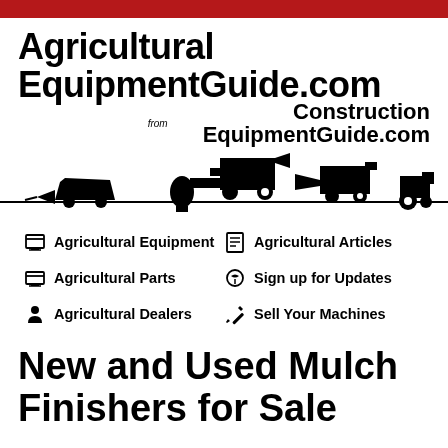Agricultural EquipmentGuide.com
from Construction EquipmentGuide.com
[Figure (illustration): Silhouette strip of agricultural equipment machines including tractors, harvester, grain trailers on a baseline]
Agricultural Equipment
Agricultural Articles
Agricultural Parts
Sign up for Updates
Agricultural Dealers
Sell Your Machines
New and Used Mulch Finishers for Sale